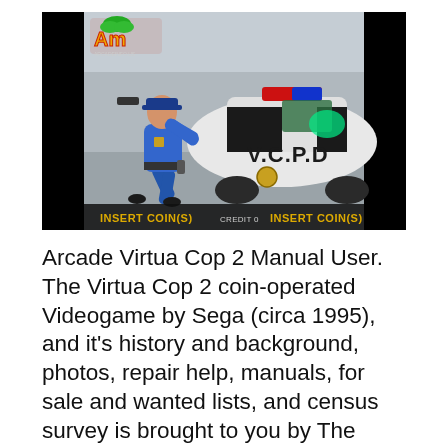[Figure (screenshot): Screenshot of Virtua Cop 2 arcade game showing a police officer character in a blue uniform aiming a gun at a black and white police car marked 'V.C.P.D'. The bottom of the screen shows 'INSERT COIN(S) CREDIT 0 INSERT COIN(S)' in yellow text. An arcade game logo is visible in the top left corner.]
Arcade Virtua Cop 2 Manual User. The Virtua Cop 2 coin-operated Videogame by Sega (circa 1995), and it's history and background, photos, repair help, manuals, for sale and wanted lists, and census survey is brought to you by The International Arcade Museum at the Museum fo the Game. 21/09/2013 B.B: